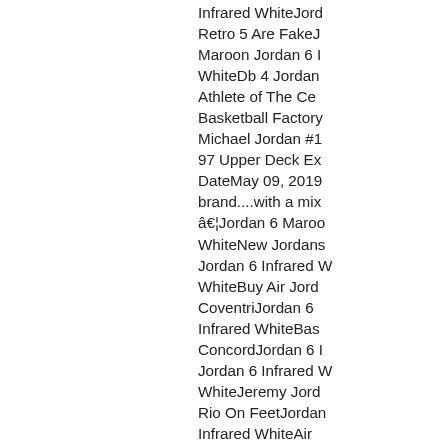Infrared WhiteJord...
Retro 5 Are FakeJ...
Maroon Jordan 6 I...
WhiteDb 4 Jordan...
Athlete of The Ce...
Basketball Factory...
Michael Jordan #1...
97 Upper Deck Ex...
DateMay 09, 2019...
brand....with a mix...
â€¦Jordan 6 Maroo...
WhiteNew Jordans...
Jordan 6 Infrared W...
WhiteBuy Air Jord...
CoventriJordan 6 ...
Infrared WhiteBas...
ConcordJordan 6 I...
Jordan 6 Infrared W...
WhiteJeremy Jord...
Rio On FeetJordan...
Infrared WhiteAir...
Day 8 JordanJorda...
Jordan 6 Infrared W...
RetroJordan 6 Mar...
Infrared WhiteJord...